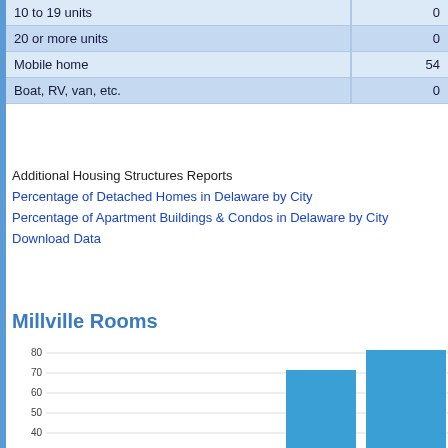|  | Value |
| --- | --- |
| 10 to 19 units | 0 |
| 20 or more units | 0 |
| Mobile home | 54 |
| Boat, RV, van, etc. | 0 |
Additional Housing Structures Reports
Percentage of Detached Homes in Delaware by City
Percentage of Apartment Buildings & Condos in Delaware by City
Download Data
Millville Rooms
[Figure (bar-chart): Millville Rooms]